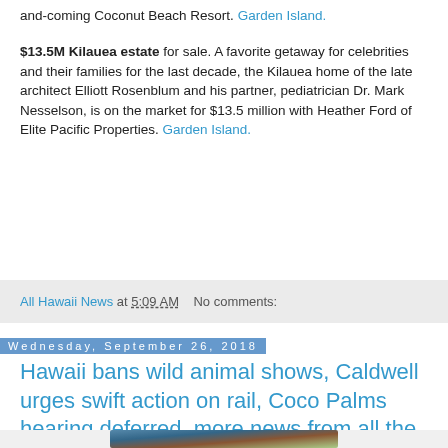and-coming Coconut Beach Resort. Garden Island.
$13.5M Kilauea estate for sale. A favorite getaway for celebrities and their families for the last decade, the Kilauea home of the late architect Elliott Rosenblum and his partner, pediatrician Dr. Mark Nesselson, is on the market for $13.5 million with Heather Ford of Elite Pacific Properties. Garden Island.
All Hawaii News at 5:09 AM   No comments:
Wednesday, September 26, 2018
Hawaii bans wild animal shows, Caldwell urges swift action on rail, Coco Palms hearing deferred, more news from all the Hawaiian Islands
[Figure (photo): Partial view of a photo at the bottom of the page]